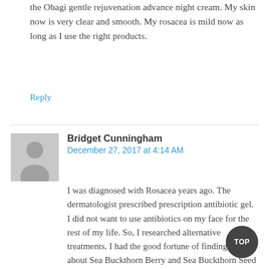the Obagi gentle rejuvenation advance night cream. My skin now is very clear and smooth. My rosacea is mild now as long as I use the right products.
Reply
Bridget Cunningham
December 27, 2017 at 4:14 AM
I was diagnosed with Rosacea years ago. The dermatologist prescribed prescription antibiotic gel. I did not want to use antibiotics on my face for the rest of my life. So, I researched alternative treatments. I had the good fortune of finding out about Sea Buckthorn Berry and Sea Buckthorn Seed Oils. Both have significant anti-microbial and bacterial properties. I have used Sea Buckthorn Seed Oil on my face since then. I